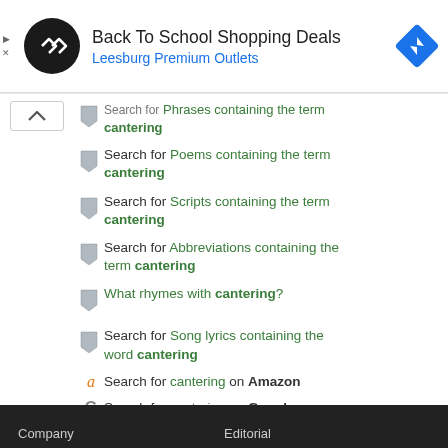[Figure (other): Advertisement banner: Back To School Shopping Deals at Leesburg Premium Outlets with circular logo and blue diamond navigation icon]
Search for Phrases containing the term cantering
Search for Poems containing the term cantering
Search for Scripts containing the term cantering
Search for Abbreviations containing the term cantering
What rhymes with cantering?
Search for Song lyrics containing the word cantering
Search for cantering on Amazon
Search for cantering on Google
Company   Editorial